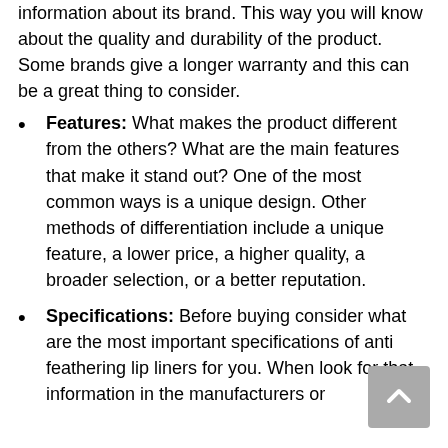information about its brand. This way you will know about the quality and durability of the product. Some brands give a longer warranty and this can be a great thing to consider.
Features: What makes the product different from the others? What are the main features that make it stand out? One of the most common ways is a unique design. Other methods of differentiation include a unique feature, a lower price, a higher quality, a broader selection, or a better reputation.
Specifications: Before buying consider what are the most important specifications of anti feathering lip liners for you. When look for that information in the manufacturers or